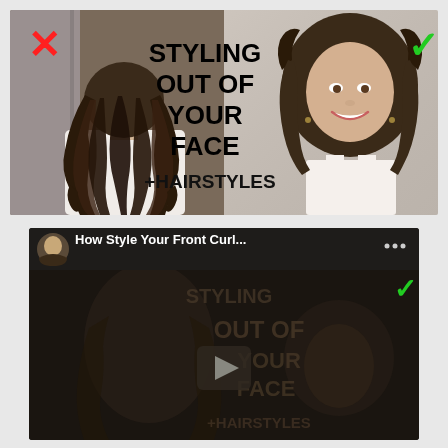[Figure (photo): YouTube video thumbnail showing split image: left side shows person with curly hair hanging down (back view, red X mark), right side shows smiling woman with styled curly hair (green checkmark). Bold text overlay reads 'STYLING OUT OF YOUR FACE +HAIRSTYLES']
[Figure (screenshot): YouTube video player screenshot showing the same styling video with title 'How Style Your Front Curl...' with video avatar, three dots menu, green checkmark, and play button overlay on darkened video content]